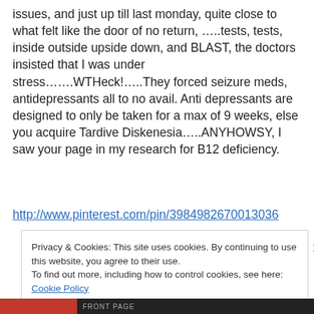issues, and just up till last monday, quite close to what felt like the door of no return, …..tests, tests, inside outside upside down, and BLAST, the doctors insisted that I was under stress…….WTHeck!…..They forced seizure meds, antidepressants all to no avail. Anti depressants are designed to only be taken for a max of 9 weeks, else you acquire Tardive Diskenesia…..ANYHOWSY, I saw your page in my research for B12 deficiency.
http://www.pinterest.com/pin/3984982670013036
Privacy & Cookies: This site uses cookies. By continuing to use this website, you agree to their use.
To find out more, including how to control cookies, see here: Cookie Policy